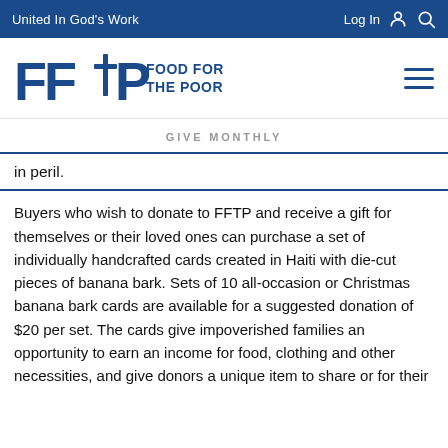United In God's Work | Log In
[Figure (logo): Food For The Poor (FFTP) logo with cross between letters and organization name]
GIVE MONTHLY
in peril.
Buyers who wish to donate to FFTP and receive a gift for themselves or their loved ones can purchase a set of individually handcrafted cards created in Haiti with die-cut pieces of banana bark. Sets of 10 all-occasion or Christmas banana bark cards are available for a suggested donation of $20 per set. The cards give impoverished families an opportunity to earn an income for food, clothing and other necessities, and give donors a unique item to share or for their